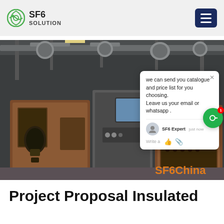SF6 SOLUTION
[Figure (screenshot): Industrial SF6 equipment in a facility with a live chat popup overlay showing message: 'we can send you catalogue and price list for you choosing. Leave us your email or whatsapp .' from SF6 Expert, with SF6China watermark]
Project Proposal Insulated